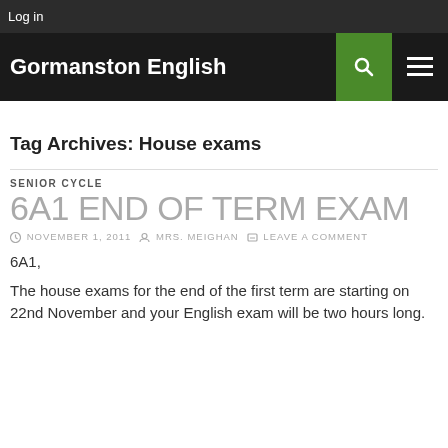Log in
Gormanston English
Tag Archives: House exams
SENIOR CYCLE
6A1 END OF TERM EXAM
NOVEMBER 1, 2011  MRS. MEIGHAN  LEAVE A COMMENT
6A1,
The house exams for the end of the first term are starting on 22nd November and your English exam will be two hours long.